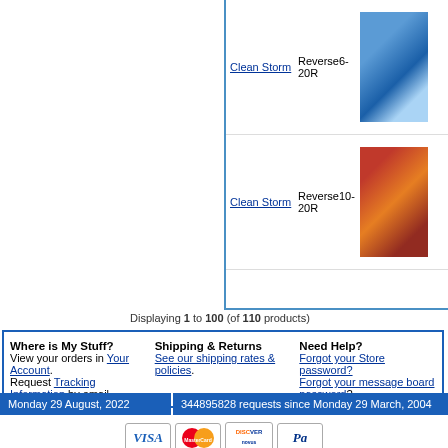| Brand | Model | Image |
| --- | --- | --- |
| Clean Storm | Reverse6-20R | [image] |
| Clean Storm | Reverse10-20R | [image] |
Displaying 1 to 100 (of 110 products)
Where is My Stuff?
View your orders in Your Account.
Request Tracking Information by email.
Shipping & Returns
See our shipping rates & policies.
Need Help?
Forgot your Store password?
Forgot your message board password?
Monday 29 August, 2022 | 344895828 requests since Monday 29 March, 2004
1982 - 2013 Steambrite Sup
Carpet Cleaning Machines|Truck Mou